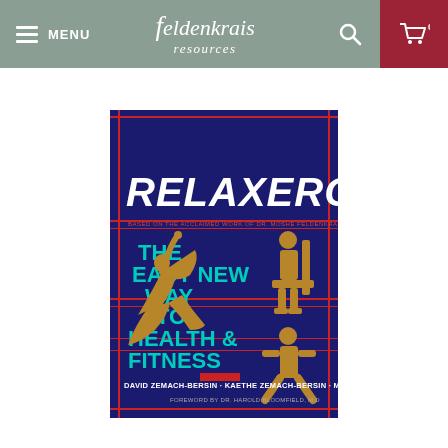MENU | feldenkrais resources | search | cart 0
[Figure (illustration): Book cover of RELAXERCISE: The Easy New Way to Health & Fitness, based on the acclaimed work of Dr. Moshe Feldenkrais. Authors: David Zemach-Bersin, Kaethe Zemach-Bersin, Mark Reese. Foreword by Dr. Harold Bloomfield, M.D. Dark navy blue cover with red horizontal rules, white/teal title text, and gold silhouette figures of people exercising.]